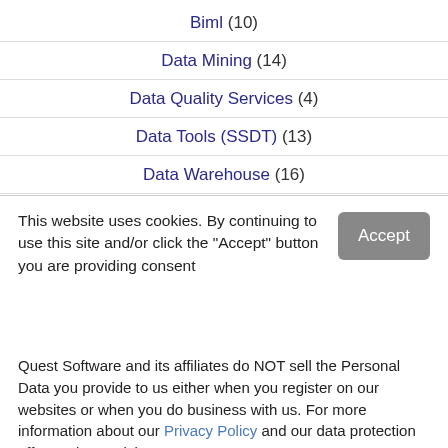Biml (10)
Data Mining (14)
Data Quality Services (4)
Data Tools (SSDT) (13)
Data Warehouse (16)
This website uses cookies. By continuing to use this site and/or click the "Accept" button you are providing consent
Quest Software and its affiliates do NOT sell the Personal Data you provide to us either when you register on our websites or when you do business with us. For more information about our Privacy Policy and our data protection efforts, please visit GDPR-HQ